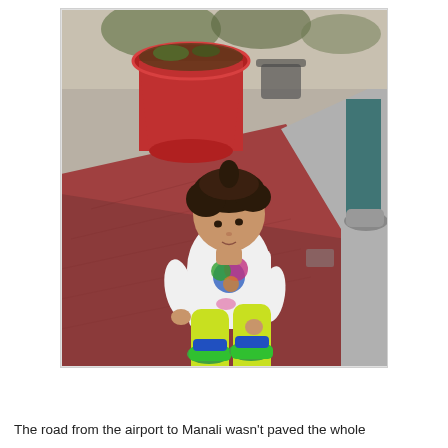[Figure (photo): A toddler with curly dark hair sitting on a red granite ledge outdoors. The child wears a white t-shirt with a colorful print, bright yellow-green pants with white cuffs, and colorful sandals. Behind the child is a large red terracotta flower pot. The background shows a grey concrete pavement and a person standing to the right wearing teal clothes and grey sneakers.]
The road from the airport to Manali wasn't paved the whole